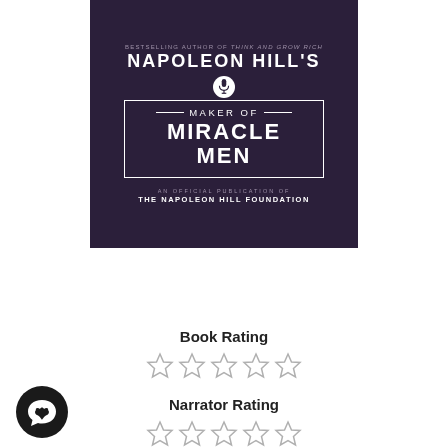[Figure (illustration): Book cover for Napoleon Hill's Maker of Miracle Men, dark purple textured background with white text, microphone icon in circle, decorative border box, subtitle 'An Official Publication of The Napoleon Hill Foundation']
Add to Cart
Price $2.95
Book Rating
[Figure (other): Five empty gray star rating icons for Book Rating]
Narrator Rating
[Figure (other): Five empty gray star rating icons for Narrator Rating (partially visible)]
[Figure (other): Chat/messenger circular button icon in bottom left corner]